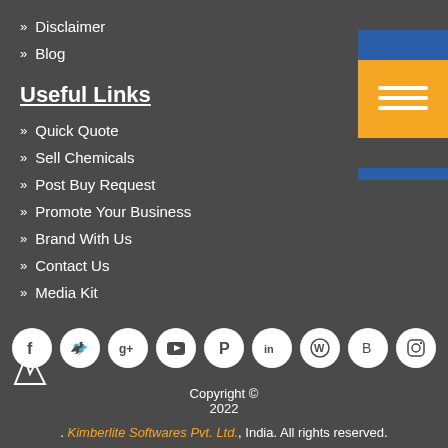» Disclaimer
» Blog
Useful Links
» Quick Quote
» Sell Chemicals
» Post Buy Request
» Promote Your Business
» Brand With Us
» Contact Us
» Media Kit
[Figure (infographic): Social media icons row: Facebook, Twitter, Google+, YouTube, Pinterest, LinkedIn, WordPress, Blogger, Instagram]
Copyright © 2022
. Kimberlite Softwares Pvt. Ltd., India. All rights reserved.